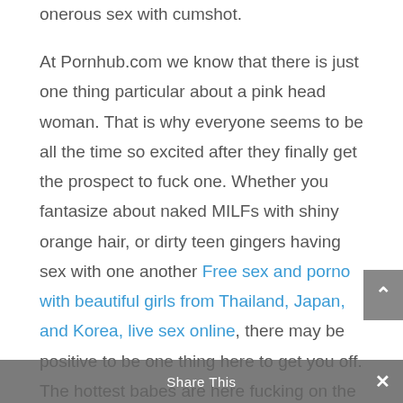onerous sex with cumshot.
At Pornhub.com we know that there is just one thing particular about a pink head woman. That is why everyone seems to be all the time so excited after they finally get the prospect to fuck one. Whether you fantasize about naked MILFs with shiny orange hair, or dirty teen gingers having sex with one another Free sex and porno with beautiful girls from Thailand, Japan, and Korea, live sex online, there may be positive to be one thing here to get you off. The hottest babes are here fucking on the most fashions in
Share This